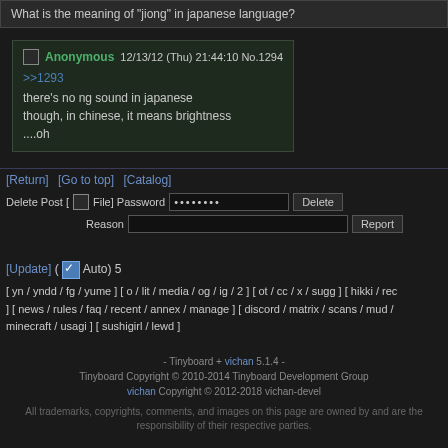What is the meaning of "jiong" in japanese language?
Anonymous 12/13/12 (Thu) 21:44:10 No.1294
>>1293
there's no ng sound in japanese
though, in chinese, it means brightness
....oh
[Return] [Go to top] [Catalog]
Delete Post [ ] File] Password ......... Delete
Reason Report
[Update] ( Auto) 5
[ yn / yndd / fg / yume ] [ o / lit / media / og / ig / 2 ] [ ot / cc / x / sugg ] [ hikki / rec ] [ news / rules / faq / recent / annex / manage ] [ discord / matrix / scans / mud / minecraft / usagi ] [ sushigirl / lewd ]
- Tinyboard + vichan 5.1.4 -
Tinyboard Copyright © 2010-2014 Tinyboard Development Group
vichan Copyright © 2012-2018 vichan-devel
All trademarks, copyrights, comments, and images on this page are owned by and are the responsibility of their respective parties.